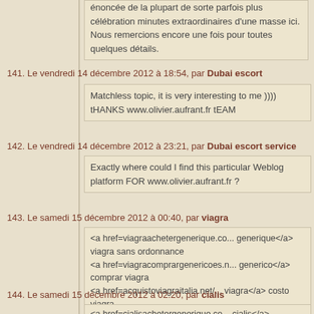énoncée de la plupart de sorte parfois plus célébration minutes extraordinaires d'une masse ici. Nous remercions encore une fois pour toutes quelques détails.
141. Le vendredi 14 décembre 2012 à 18:54, par Dubai escort
Matchless topic, it is very interesting to me )))) tHANKS www.olivier.aufrant.fr tEAM
142. Le vendredi 14 décembre 2012 à 23:21, par Dubai escort service
Exactly where could I find this particular Weblog platform FOR www.olivier.aufrant.fr ?
143. Le samedi 15 décembre 2012 à 00:40, par viagra
<a href=viagraachetergenerique.co... generique</a> viagra sans ordonnance
<a href=viagracomprargenericoes.n... generico</a> comprar viagra
<a href=acquistoviagraitalia.net/... viagra</a> costo viagra
<a href=kaufenviagragenerika.net/... viagra deutschland
144. Le samedi 15 décembre 2012 à 02:20, par cialis
<a href=cialisachetergenerique.co... cialis</a> commander cialis france